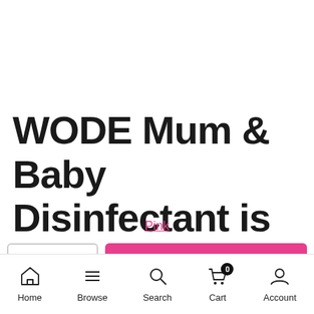WODE Mum & Baby Disinfectant is
Pink
- 1 + ADD TO CART
Home  Browse  Search  Cart  Account